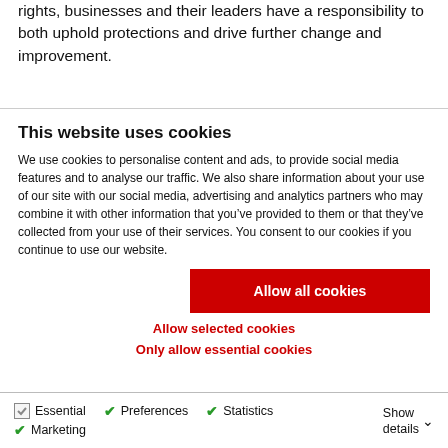rights, businesses and their leaders have a responsibility to both uphold protections and drive further change and improvement.
“You need to understand your business impacts on people,
This website uses cookies
We use cookies to personalise content and ads, to provide social media features and to analyse our traffic. We also share information about your use of our site with our social media, advertising and analytics partners who may combine it with other information that you’ve provided to them or that they’ve collected from your use of their services. You consent to our cookies if you continue to use our website.
Allow all cookies
Allow selected cookies
Only allow essential cookies
Essential  Preferences  Statistics  Marketing  Show details